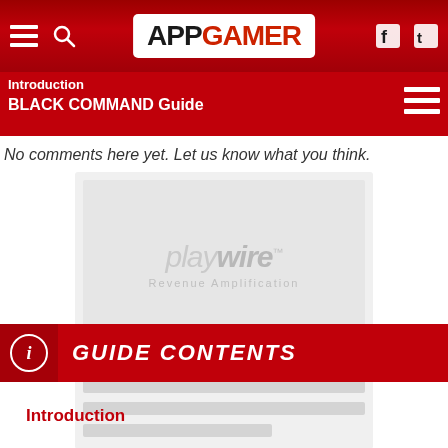APPGAMER navigation header with menu, search, logo, Facebook, Twitter icons
Introduction
BLACK COMMAND Guide
No comments here yet. Let us know what you think.
[Figure (other): Playwire Revenue Amplification advertisement placeholder with logo and loading skeleton lines]
GUIDE CONTENTS
Introduction